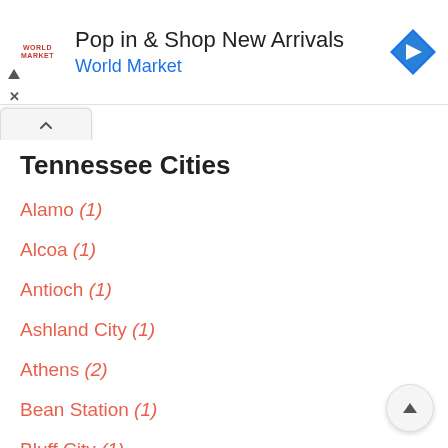[Figure (other): World Market advertisement banner: 'Pop in & Shop New Arrivals / World Market' with logo and navigation icon]
Tennessee Cities
Alamo (1)
Alcoa (1)
Antioch (1)
Ashland City (1)
Athens (2)
Bean Station (1)
Bluff City (1)